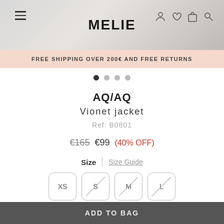[Figure (screenshot): Website header with hamburger menu icon on left, MELIE logo centered, and user/wishlist/bag/search icons on top right, over a gray background with a model's arm visible]
FREE SHIPPING OVER 200€ AND FREE RETURNS
AQ/AQ
Vionet jacket
Ref: B0801
€165  €99  (40% OFF)
Size  |  Size Guide
XS  S  M  L
Can't find your size?
ADD TO BAG